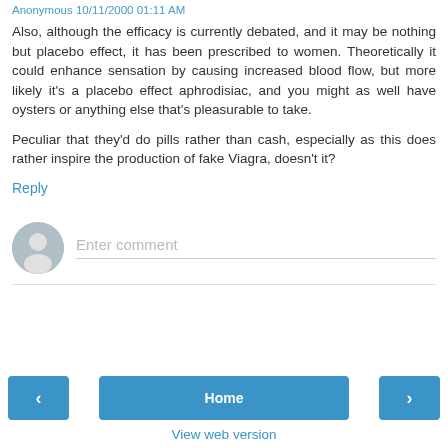Anonymous 10/11/2000 01:11 AM
Also, although the efficacy is currently debated, and it may be nothing but placebo effect, it has been prescribed to women. Theoretically it could enhance sensation by causing increased blood flow, but more likely it's a placebo effect aphrodisiac, and you might as well have oysters or anything else that's pleasurable to take.
Peculiar that they'd do pills rather than cash, especially as this does rather inspire the production of fake Viagra, doesn't it?
Reply
[Figure (other): User avatar placeholder circle with person silhouette icon, and an Enter comment input field below]
Enter comment
< Home > View web version